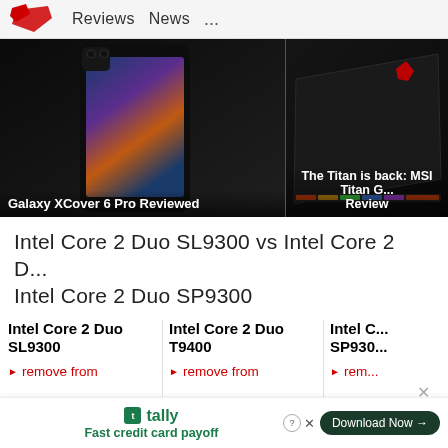Reviews   News   ...
[Figure (photo): Samsung Galaxy XCover 6 Pro smartphone shown against dark background with colorful screen display]
Galaxy XCover 6 Pro Reviewed
[Figure (photo): MSI Titan GT laptop shown from rear angle with red MSI logo on dark background]
The Titan is back: MSI Titan G... Review
Intel Core 2 Duo SL9300 vs Intel Core 2 D... Intel Core 2 Duo SP9300
Intel Core 2 Duo SL9300
Intel Core 2 Duo T9400
Intel C... SP930...
► remove from
► remove from
► rem...
tally
Fast credit card payoff
Download Now →